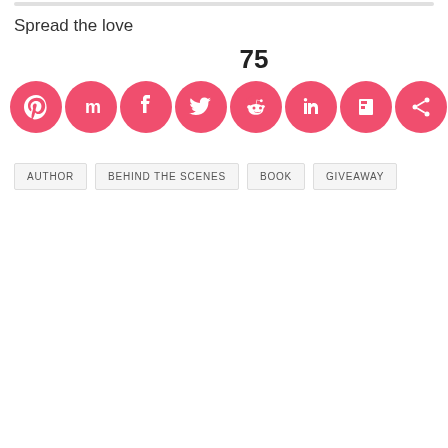Spread the love
75
[Figure (infographic): Row of 8 pink circular social media share buttons: Pinterest, Mix, Facebook, Twitter, Reddit, LinkedIn, Flipboard, Share]
AUTHOR
BEHIND THE SCENES
BOOK
GIVEAWAY